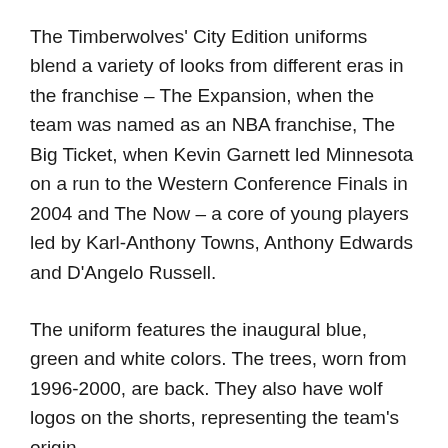The Timberwolves' City Edition uniforms blend a variety of looks from different eras in the franchise – The Expansion, when the team was named as an NBA franchise, The Big Ticket, when Kevin Garnett led Minnesota on a run to the Western Conference Finals in 2004 and The Now – a core of young players led by Karl-Anthony Towns, Anthony Edwards and D'Angelo Russell.
The uniform features the inaugural blue, green and white colors. The trees, worn from 1996-2000, are back. They also have wolf logos on the shorts, representing the team's origin.
The Timberwolves will wear the City Edition uniforms for 19 games this season, including eight home games,